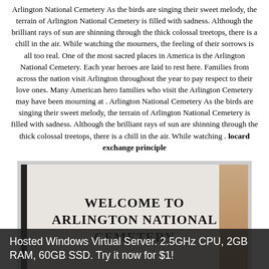Arlington National Cemetery As the birds are singing their sweet melody, the terrain of Arlington National Cemetery is filled with sadness. Although the brilliant rays of sun are shinning through the thick colossal treetops, there is a chill in the air. While watching the mourners, the feeling of their sorrows is all too real. One of the most sacred places in America is the Arlington National Cemetery. Each year heroes are laid to rest here. Families from across the nation visit Arlington throughout the year to pay respect to their love ones. Many American hero families who visit the Arlington Cemetery may have been mourning at . Arlington National Cemetery As the birds are singing their sweet melody, the terrain of Arlington National Cemetery is filled with sadness. Although the brilliant rays of sun are shinning through the thick colossal treetops, there is a chill in the air. While watching . locard exchange principle
[Figure (photo): A welcome sign reading WELCOME TO ARLINGTON NATIONAL CEMETERY with a tan/brown wall visible to the right and a dark left border strip.]
Hosted Windows Virtual Server. 2.5GHz CPU, 2GB RAM, 60GB SSD. Try it now for $1!